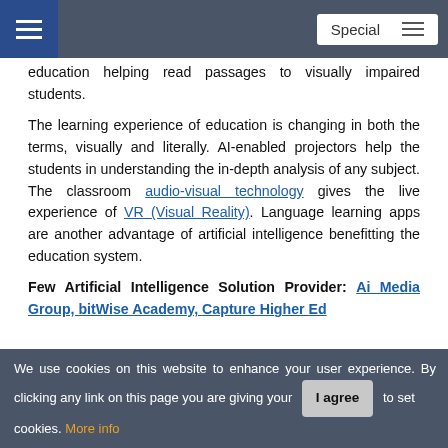Special
education helping read passages to visually impaired students.
The learning experience of education is changing in both the terms, visually and literally. AI-enabled projectors help the students in understanding the in-depth analysis of any subject. The classroom audio-visual technology gives the live experience of VR (Visual Reality). Language learning apps are another advantage of artificial intelligence benefitting the education system.
Few Artificial Intelligence Solution Provider: Ai Media Group, bitWise Academy, Capture Higher Ed
We use cookies on this website to enhance your user experience. By clicking any link on this page you are giving your consent for us to set cookies. More info